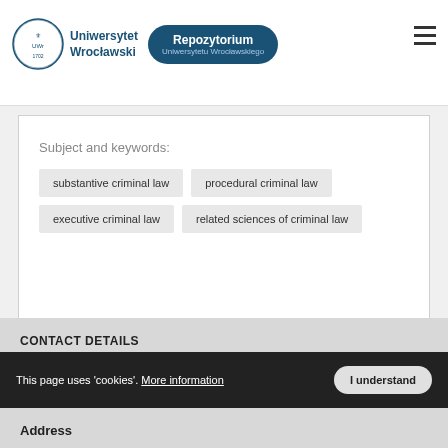[Figure (logo): Uniwersytet Wrocławski logo with crest and Repozytorium Uniwersytetu Wrocławskiego badge]
Subject and keywords:
substantive criminal law
procedural criminal law
executive criminal law
related sciences of criminal law
CONTACT DETAILS
This page uses 'cookies'. More information  I understand
Address